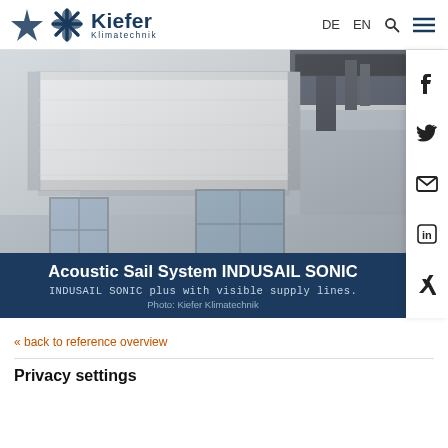Kiefer Klimatechnik — DE  EN  [search]  [menu]
[Figure (photo): Acoustic sail / ceiling panel (INDUSAIL SONIC plus) suspended from a ceiling with visible supply lines and ductwork; windows visible in background. Interior industrial/office space.]
Acoustic Sail System INDUSAIL SONIC
INDUSAIL SONIC plus with visible supply lines.
Photo: Kiefer Klimatechnik
« back to reference overview
Privacy settings